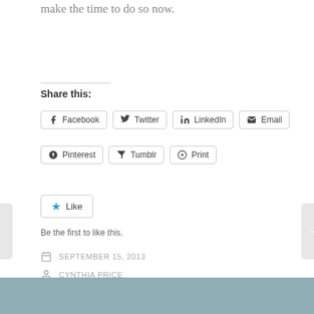make the time to do so now.
Share this:
Facebook
Twitter
LinkedIn
Email
Pinterest
Tumblr
Print
Like
Be the first to like this.
SEPTEMBER 15, 2013
CYNTHIA PRICE
NETWORKING, PERSONAL BRANDING